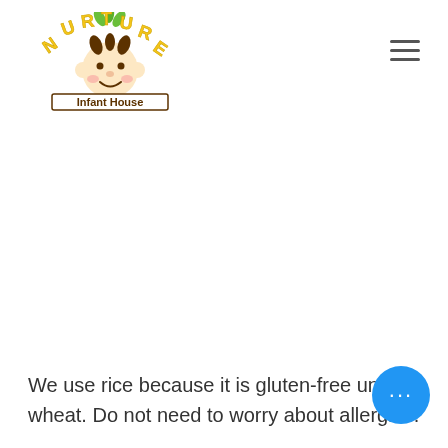[Figure (logo): Nurture Infant House logo — cartoon baby face with the text NURTURE arched above and 'Infant House' on a banner below]
We use rice because it is gluten-free unlike wheat. Do not need to worry about allergies.